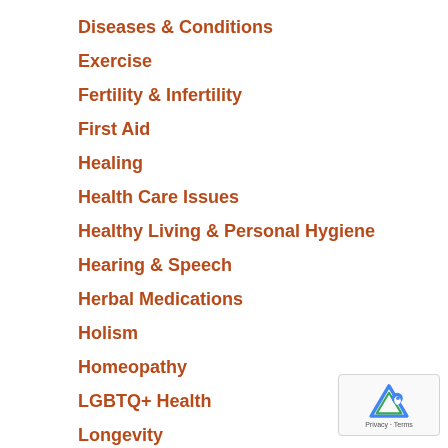Diseases & Conditions
Exercise
Fertility & Infertility
First Aid
Healing
Health Care Issues
Healthy Living & Personal Hygiene
Hearing & Speech
Herbal Medications
Holism
Homeopathy
LGBTQ+ Health
Longevity
Massage & Reflexology